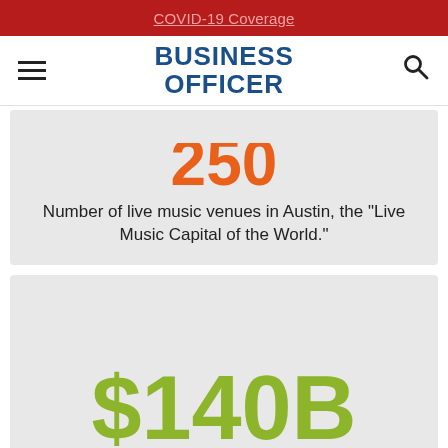COVID-19 Coverage
[Figure (logo): Business Officer magazine logo with hamburger menu and search icon]
Number of live music venues in Austin, the “Live Music Capital of the World.”
[Figure (infographic): Large green dollar figure partially cropped at bottom, beginning with $140B]